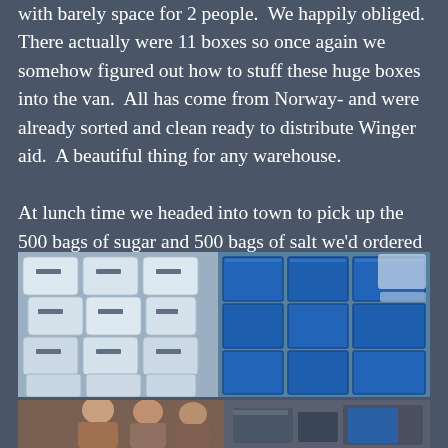with barely space for 2 people.  We happily obliged.  There actually were 11 boxes so once again we somehow figured out how to stuff these huge boxes into the van.  All has come from Norway- and were already sorted and clean ready to distribute Winger aid.  A beautiful thing for any warehouse.

At lunch time we headed into town to pick up the 500 bags of sugar and 500 bags of salt we'd ordered
[Figure (photo): Large stacks of white bags and blue boxes piled in a warehouse or storage area.]
[Figure (photo): Two or more people standing together, partially visible at the bottom of the page.]